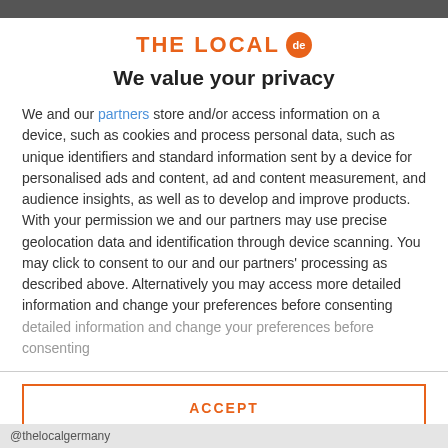THE LOCAL de
We value your privacy
We and our partners store and/or access information on a device, such as cookies and process personal data, such as unique identifiers and standard information sent by a device for personalised ads and content, ad and content measurement, and audience insights, as well as to develop and improve products. With your permission we and our partners may use precise geolocation data and identification through device scanning. You may click to consent to our and our partners' processing as described above. Alternatively you may access more detailed information and change your preferences before consenting
ACCEPT
MORE OPTIONS
@thelocalgermany